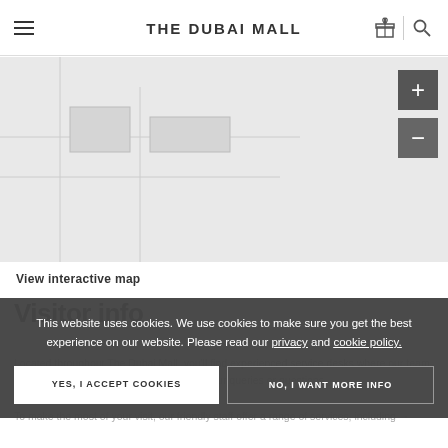THE DUBAI MALL
[Figure (map): Interactive map area with zoom in (+) and zoom out (-) controls on the right side, map content area shown as light grey background]
View interactive map
Visitor info
Located throughout The Dubai Mall, you'll find experienced service desks where our team will be delighted to assist you with any of your queries or questions.
To make the most of your visit, our friendly staff offer a range of services, including →
This website uses cookies. We use cookies to make sure you get the best experience on our website. Please read our privacy and cookie policy.
YES, I ACCEPT COOKIES
NO, I WANT MORE INFO